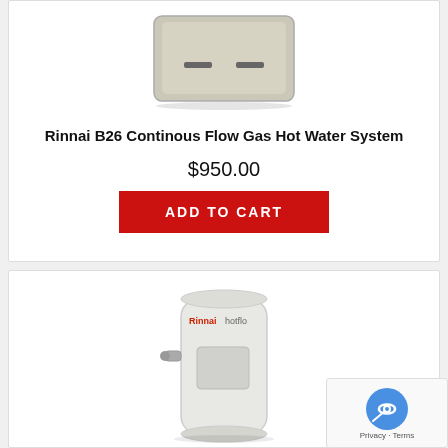[Figure (photo): Rinnai B26 hot water system unit, top-down view, beige/cream colored box with two dark horizontal slots]
Rinnai B26 Continous Flow Gas Hot Water System
$950.00
ADD TO CART
[Figure (photo): Rinnai Hotflo electric hot water storage tank, white cylindrical unit with Rinnai and hotflo branding in red text, with inlet/outlet connections]